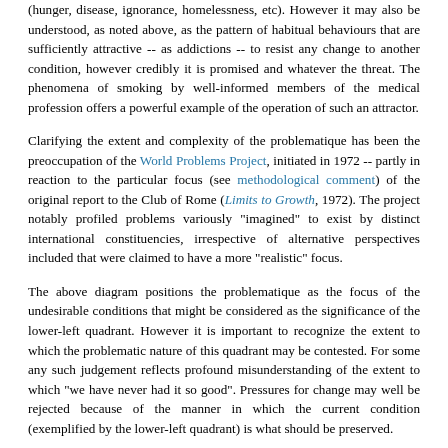(hunger, disease, ignorance, homelessness, etc). However it may also be understood, as noted above, as the pattern of habitual behaviours that are sufficiently attractive -- as addictions -- to resist any change to another condition, however credibly it is promised and whatever the threat. The phenomena of smoking by well-informed members of the medical profession offers a powerful example of the operation of such an attractor.
Clarifying the extent and complexity of the problematique has been the preoccupation of the World Problems Project, initiated in 1972 -- partly in reaction to the particular focus (see methodological comment) of the original report to the Club of Rome (Limits to Growth, 1972). The project notably profiled problems variously "imagined" to exist by distinct international constituencies, irrespective of alternative perspectives included that were claimed to have a more "realistic" focus.
The above diagram positions the problematique as the focus of the undesirable conditions that might be considered as the significance of the lower-left quadrant. However it is important to recognize the extent to which the problematic nature of this quadrant may be contested. For some any such judgement reflects profound misunderstanding of the extent to which "we have never had it so good". Pressures for change may well be rejected because of the manner in which the current condition (exemplified by the lower-left quadrant) is what should be preserved.